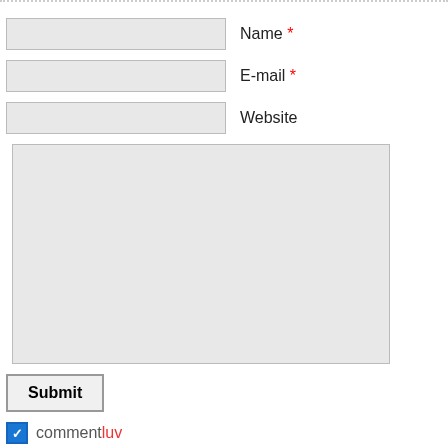[Figure (screenshot): Web comment form with Name, E-mail, Website input fields, a large textarea, Submit button, commentluv checkbox, and notify me of followup comments checkbox with partial text.]